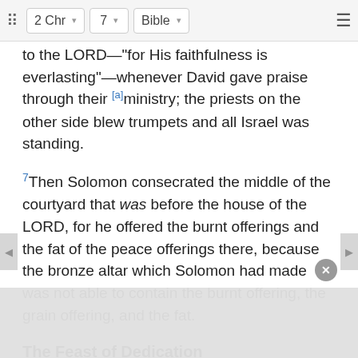2 Chr  7  Bible
to the LORD—“for His faithfulness is everlasting”—whenever David gave praise through their [a]ministry; the priests on the other side blew trumpets and all Israel was standing.
7 Then Solomon consecrated the middle of the courtyard that was before the house of the LORD, for he offered the burnt offerings and the fat of the peace offerings there, because the bronze altar which Solomon had made was not able to contain the burnt offering, the grain offering, and the fat.
The Feast of Dedication
8 So Solomon held the feast at that time for seven days, and all Israel with him, a very great assembly that c[ame from the entrance of Hamath to the b]rook of Eg[ypt,] [and they kept the feast seven days so]lemn